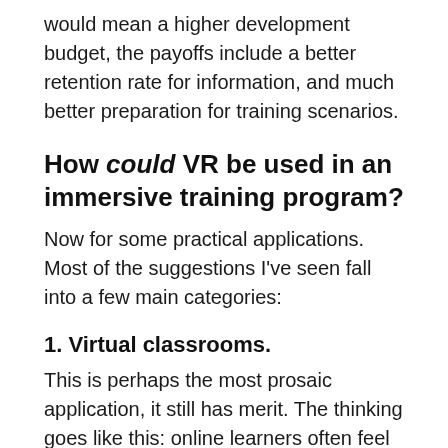would mean a higher development budget, the payoffs include a better retention rate for information, and much better preparation for training scenarios.
How could VR be used in an immersive training program?
Now for some practical applications. Most of the suggestions I've seen fall into a few main categories:
1. Virtual classrooms.
This is perhaps the most prosaic application, it still has merit. The thinking goes like this: online learners often feel disconnected from